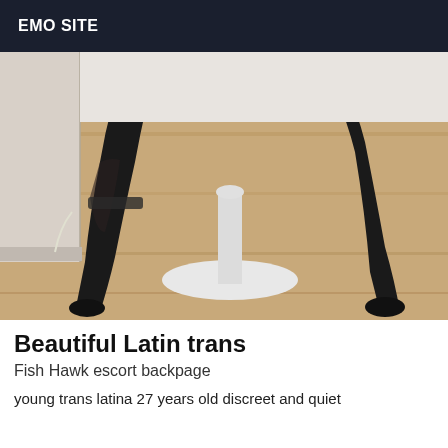EMO SITE
[Figure (photo): A person wearing black thigh-high stockings and dark shorts, kneeling on a wooden floor next to a white pedestal table, photographed from the waist down.]
Beautiful Latin trans
Fish Hawk escort backpage
young trans latina 27 years old discreet and quiet